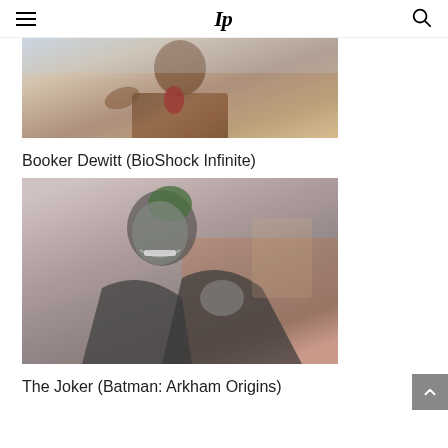IP
[Figure (illustration): Booker Dewitt character artwork from BioShock Infinite — a man in a brown jacket with a red necktie, partially visible from the chest up, with colorful background.]
Booker Dewitt (BioShock Infinite)
[Figure (illustration): The Joker character artwork from Batman: Arkham Origins — a grinning figure with green hair and a dark suit, in a fighting pose against an orange background.]
The Joker (Batman: Arkham Origins)